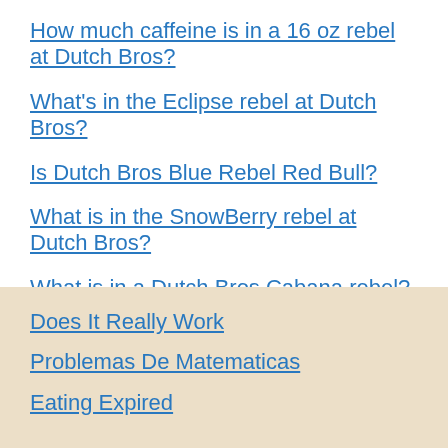How much caffeine is in a 16 oz rebel at Dutch Bros?
What's in the Eclipse rebel at Dutch Bros?
Is Dutch Bros Blue Rebel Red Bull?
What is in the SnowBerry rebel at Dutch Bros?
What is in a Dutch Bros Cabana rebel?
Is Dutch Bros rebel a Red Bull?
What is Dutch Bros Blue Rebel?
Does It Really Work
Problemas De Matematicas
Eating Expired